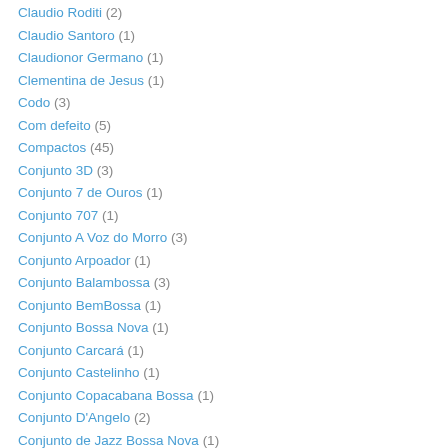Claudio Roditi (2)
Claudio Santoro (1)
Claudionor Germano (1)
Clementina de Jesus (1)
Codo (3)
Com defeito (5)
Compactos (45)
Conjunto 3D (3)
Conjunto 7 de Ouros (1)
Conjunto 707 (1)
Conjunto A Voz do Morro (3)
Conjunto Arpoador (1)
Conjunto Balambossa (3)
Conjunto BemBossa (1)
Conjunto Bossa Nova (1)
Conjunto Carcará (1)
Conjunto Castelinho (1)
Conjunto Copacabana Bossa (1)
Conjunto D'Angelo (2)
Conjunto de Jazz Bossa Nova (1)